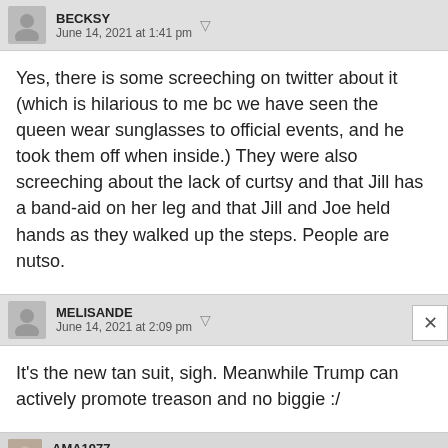BECKSY — June 14, 2021 at 1:41 pm
Yes, there is some screeching on twitter about it (which is hilarious to me bc we have seen the queen wear sunglasses to official events, and he took them off when inside.) They were also screeching about the lack of curtsy and that Jill has a band-aid on her leg and that Jill and Joe held hands as they walked up the steps. People are nutso.
MELISANDE — June 14, 2021 at 2:09 pm
It's the new tan suit, sigh. Meanwhile Trump can actively promote treason and no biggie :/
AMA1977 — June 14, 2021 at 2:55 pm
If Jill has an injury to her leg, what is she